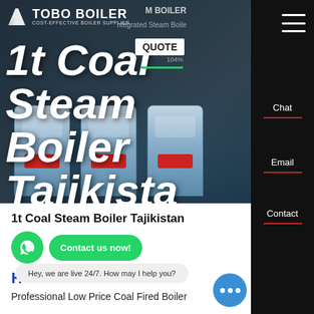[Figure (screenshot): Tobo Boiler website hero banner showing industrial boiler machinery with the headline '1t Coal Steam Boiler Tajikistan' overlaid in large white italic text. Logo with 'TOBO BOILER' and 'COST-EFFECTIVE BOILER SUPPLIER' in top left.]
1t Coal Steam Boiler Tajikistan
[Figure (infographic): WhatsApp green icon button and 'Contact us now!' green pill button]
HOT NEWS
Hey, we are live 24/7. How may I help you?
Professional Low Price Coal Fired Boiler